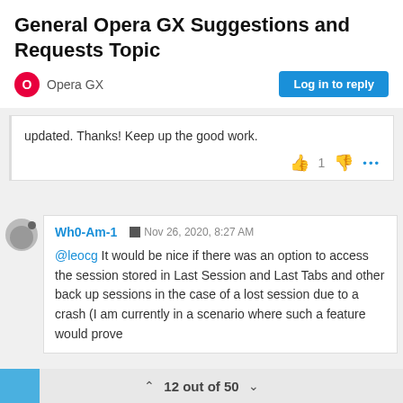General Opera GX Suggestions and Requests Topic
Opera GX
Log in to reply
updated. Thanks! Keep up the good work.
Wh0-Am-1   Nov 26, 2020, 8:27 AM
@leocg It would be nice if there was an option to access the session stored in Last Session and Last Tabs and other back up sessions in the case of a lost session due to a crash (I am currently in a scenario where such a feature would prove
12 out of 50